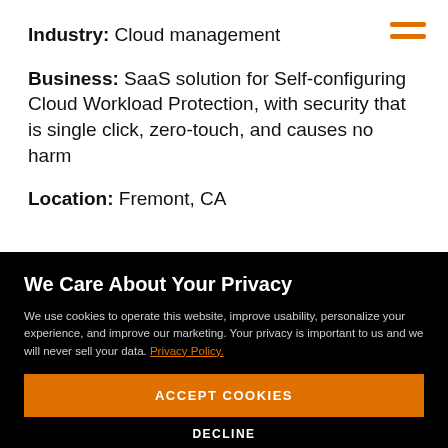Industry: Cloud management
Business: SaaS solution for Self-configuring Cloud Workload Protection, with security that is single click, zero-touch, and causes no harm
Location: Fremont, CA
We Care About Your Privacy
We use cookies to operate this website, improve usability, personalize your experience, and improve our marketing. Your privacy is important to us and we will never sell your data. Privacy Policy.
ACCEPT COOKIES
DECLINE